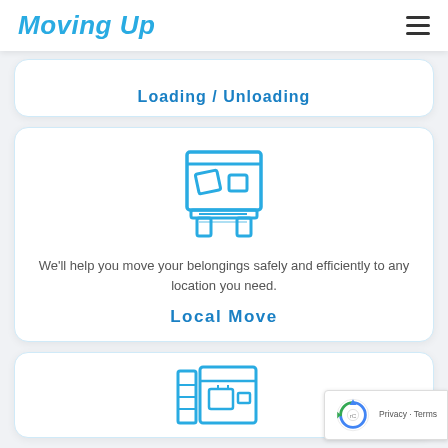Moving Up
[Figure (illustration): Partial card showing Loading / Unloading service with icon at top (cropped)]
Loading / Unloading
[Figure (illustration): Blue outline icon of a moving truck with boxes being loaded]
We'll help you move your belongings safely and efficiently to any location you need.
Local Move
[Figure (illustration): Partial card at bottom showing another service icon (moving/boxes), cropped at page bottom]